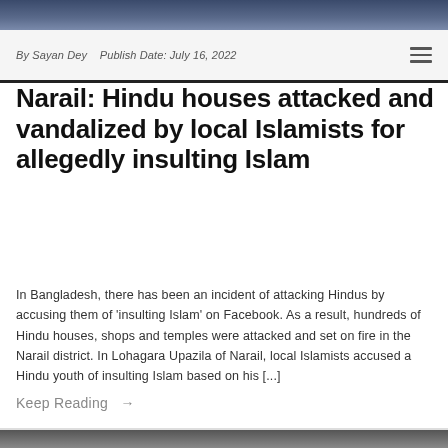[Figure (photo): Top banner image, partial view of a photograph]
By Sayan Dey   Publish Date: July 16, 2022
Narail: Hindu houses attacked and vandalized by local Islamists for allegedly insulting Islam
In Bangladesh, there has been an incident of attacking Hindus by accusing them of 'insulting Islam' on Facebook. As a result, hundreds of Hindu houses, shops and temples were attacked and set on fire in the Narail district. In Lohagara Upazila of Narail, local Islamists accused a Hindu youth of insulting Islam based on his [...]
Keep Reading  →
[Figure (photo): Bottom partial banner image]